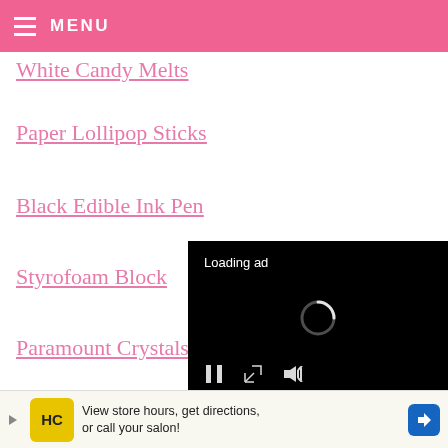MENU
White Candy Melts
Paper Lollipop Sticks
Black Edible Ink Pen
Styrofoam Block
Paramount Crystals
Rainbow Candy Coated Chips
[Figure (screenshot): Video ad overlay with black background showing 'Loading ad' text, a spinning loading indicator, and media controls (pause, fullscreen, mute) at the bottom]
[Figure (screenshot): Bottom banner advertisement: yellow HC logo, text 'View store hours, get directions, or call your salon!', blue navigation arrow icon]